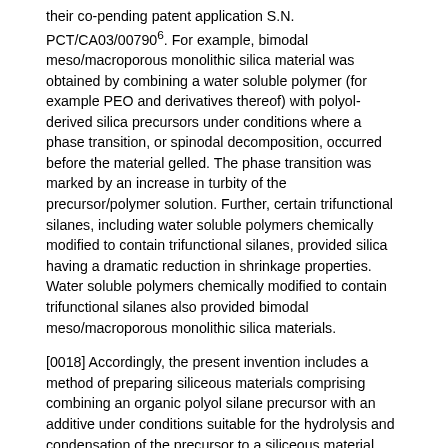their co-pending patent application S.N. PCT/CA03/007906. For example, bimodal meso/macroporous monolithic silica material was obtained by combining a water soluble polymer (for example PEO and derivatives thereof) with polyol-derived silica precursors under conditions where a phase transition, or spinodal decomposition, occurred before the material gelled. The phase transition was marked by an increase in turbity of the precursor/polymer solution. Further, certain trifunctional silanes, including water soluble polymers chemically modified to contain trifunctional silanes, provided silica having a dramatic reduction in shrinkage properties. Water soluble polymers chemically modified to contain trifunctional silanes also provided bimodal meso/macroporous monolithic silica materials.
[0018] Accordingly, the present invention includes a method of preparing siliceous materials comprising combining an organic polyol silane precursor with an additive under conditions suitable for the hydrolysis and condensation of the precursor to a siliceous material, wherein the additive is selected from the group consisting of one or more water-soluble polymers and one or more trifunctional silanes of Formula I: 1 embedded image
[0019] wherein R1, R2 and R3 are the same or different and represent a group that may be hydrolyzed under normal sol-gel conditions to provide Si—OH groups; and R4 is a group that is not hydrolyzed under normal sol-gel conditions.